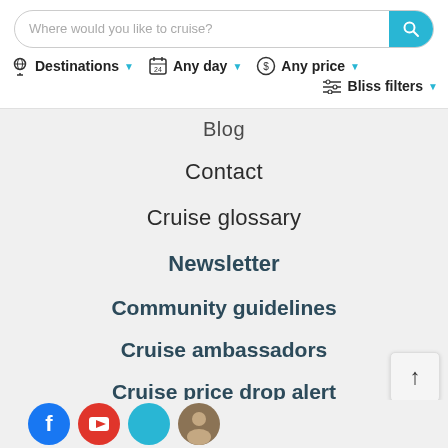[Figure (screenshot): Website navigation header with search bar saying 'Where would you like to cruise?', and filter dropdowns: Destinations, Any day, Any price, Bliss filters]
Blog
Contact
Cruise glossary
Newsletter
Community guidelines
Cruise ambassadors
Cruise price drop alert
Media center
Contributions
[Figure (illustration): Row of social media icons at bottom: Facebook (blue), YouTube (red), another blue circle, and a profile photo circle]